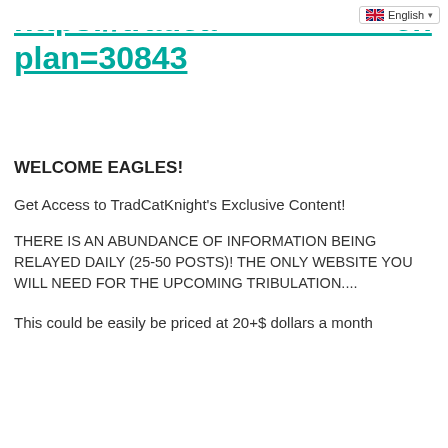https://tradca... plan=30843
WELCOME EAGLES!
Get Access to TradCatKnight's Exclusive Content!
THERE IS AN ABUNDANCE OF INFORMATION BEING RELAYED DAILY (25-50 POSTS)! THE ONLY WEBSITE YOU WILL NEED FOR THE UPCOMING TRIBULATION....
This could be easily be priced at 20+$ dollars a month